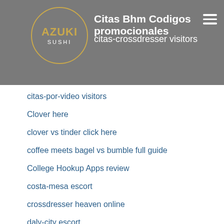Citas Bhm Codigos promocionales
citas-crossdresser visitors
citas-por-video visitors
Clover here
clover vs tinder click here
coffee meets bagel vs bumble full guide
College Hookup Apps review
costa-mesa escort
crossdresser heaven online
daly-city escort
Dating In Your 30s best sites for singles
Dating In Your 30s gratis